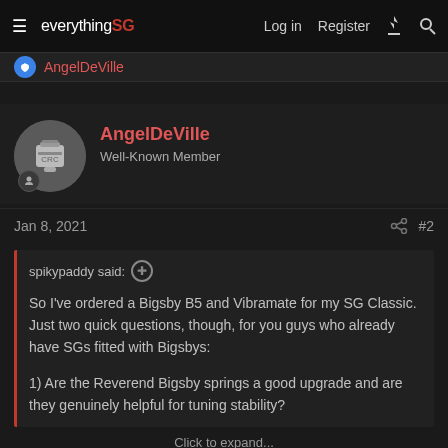everything SG | Log in | Register
AngelDeVille
AngelDeVille
Well-Known Member
Jan 8, 2021  #2
spikypaddy said:
So I've ordered a Bigsby B5 and Vibramate for my SG Classic. Just two quick questions, though, for you guys who already have SGs fitted with Bigsbys:

1) Are the Reverend Bigsby springs a good upgrade and are they genuinely helpful for tuning stability?
Click to expand...